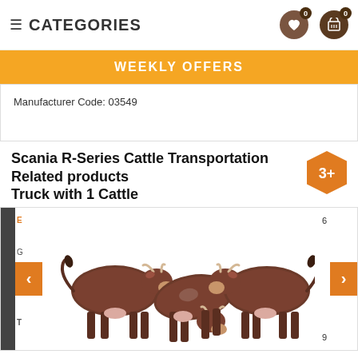≡ CATEGORIES
WEEKLY OFFERS
Manufacturer Code: 03549
Scania R-Series Cattle Transportation Truck with 1 Cattle
Related products
[Figure (photo): Three brown cattle/cow figurines displayed in a row on a white background, part of a product carousel with orange left and right navigation arrows.]
3+